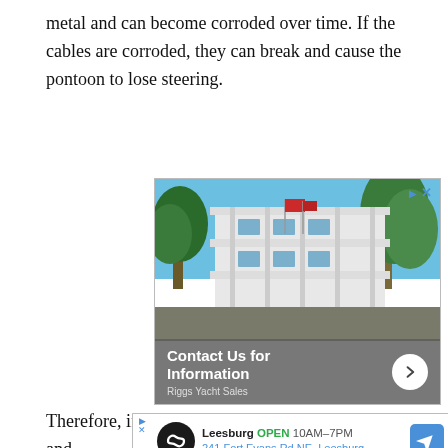metal and can become corroded over time. If the cables are corroded, they can break and cause the pontoon to lose steering.
[Figure (photo): Advertisement for Riggs Yacht Sales showing a multi-story white beach house with palm trees and a blue sky. Overlay reads 'Contact Us for Information' with a forward arrow button. Advertiser name: Riggs Yacht Sales.]
Therefore, if the connectors between the cables and
[Figure (infographic): Advertisement for Leesburg store, showing logo (infinity symbol on black circle), store name 'Leesburg', status 'OPEN', hours '10AM-7PM', address '241 Fort Evans Rd NE, Leesburg', and a blue diamond navigation icon.]